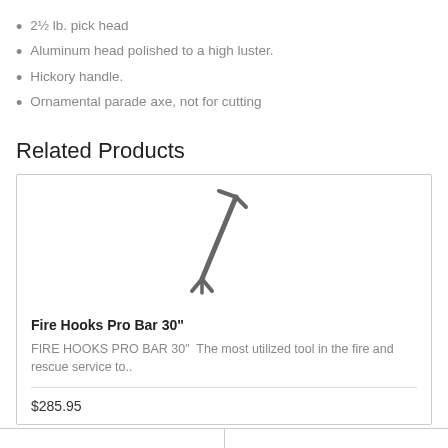2½ lb. pick head
Aluminum head polished to a high luster.
Hickory handle.
Ornamental parade axe, not for cutting
Related Products
[Figure (photo): Fire hook / pro bar tool illustration, angled metal bar with forked end]
Fire Hooks Pro Bar 30"
FIRE HOOKS PRO BAR 30"  The most utilized tool in the fire and rescue service to..
$285.95